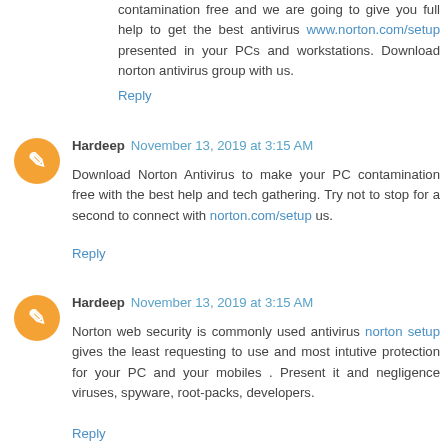contamination free and we are going to give you full help to get the best antivirus www.norton.com/setup presented in your PCs and workstations. Download norton antivirus group with us.
Reply
Hardeep November 13, 2019 at 3:15 AM
Download Norton Antivirus to make your PC contamination free with the best help and tech gathering. Try not to stop for a second to connect with norton.com/setup us.
Reply
Hardeep November 13, 2019 at 3:15 AM
Norton web security is commonly used antivirus norton setup gives the least requesting to use and most intutive protection for your PC and your mobiles . Present it and negligence viruses, spyware, root-packs, developers.
Reply